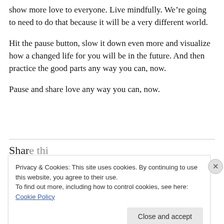show more love to everyone. Live mindfully. We're going to need to do that because it will be a very different world.
Hit the pause button, slow it down even more and visualize how a changed life for you will be in the future. And then practice the good parts any way you can, now.
Pause and share love any way you can, now.
Privacy & Cookies: This site uses cookies. By continuing to use this website, you agree to their use.
To find out more, including how to control cookies, see here: Cookie Policy